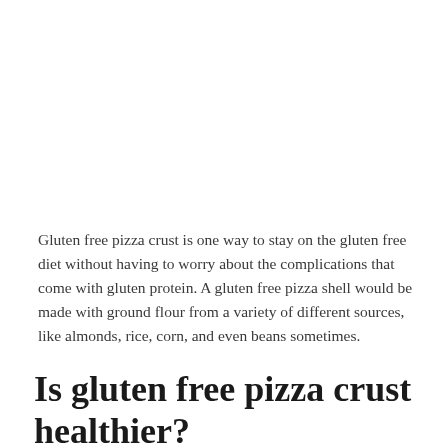Gluten free pizza crust is one way to stay on the gluten free diet without having to worry about the complications that come with gluten protein. A gluten free pizza shell would be made with ground flour from a variety of different sources, like almonds, rice, corn, and even beans sometimes.
Is gluten free pizza crust healthier?